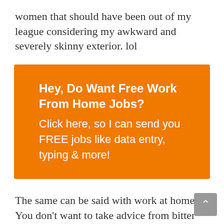women that should have been out of my league considering my awkward and severely skinny exterior. lol
[Figure (infographic): Orange advertisement box with white text. Headline: 'Hey, Do Want Free Work From Home Jobs?' Subtext: 'Click here, so I can send you FREE jobs like data entry, typing & more!']
The same can be said with work at home. You don't want to take advice from bitter non-successful work at home seekers. You need to get advice from people that are successful